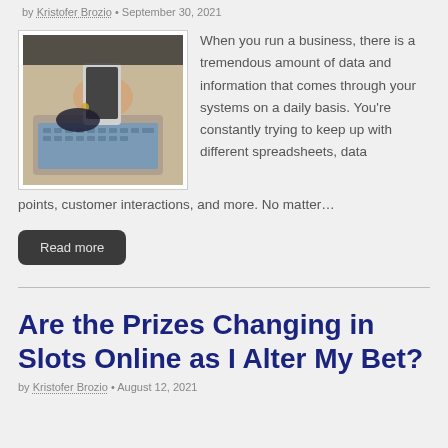by Kristofer Brozio • September 30, 2021
[Figure (photo): Person holding a smartphone over a laptop keyboard on a desk]
When you run a business, there is a tremendous amount of data and information that comes through your systems on a daily basis. You're constantly trying to keep up with different spreadsheets, data points, customer interactions, and more. No matter…
Read more
Are the Prizes Changing in Slots Online as I Alter My Bet?
by Kristofer Brozio • August 12, 2021